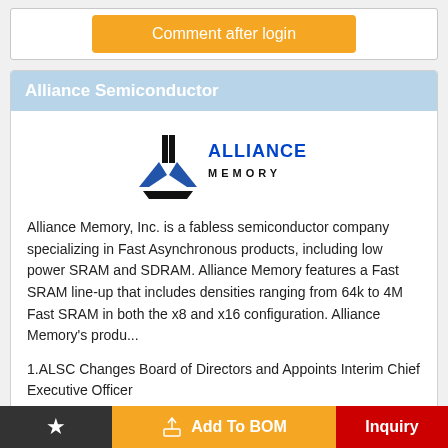Comment after login
Alliance Semiconductor
[Figure (logo): Alliance Memory logo with black stylized A-shape icon and blue ALLIANCE MEMORY text]
Alliance Memory, Inc. is a fabless semiconductor company specializing in Fast Asynchronous products, including low power SRAM and SDRAM. Alliance Memory features a Fast SRAM line-up that includes densities ranging from 64k to 4M Fast SRAM in both the x8 and x16 configuration. Alliance Memory's produ...
1.ALSC Changes Board of Directors and Appoints Interim Chief Executive Officer
Add To BOM  Inquiry